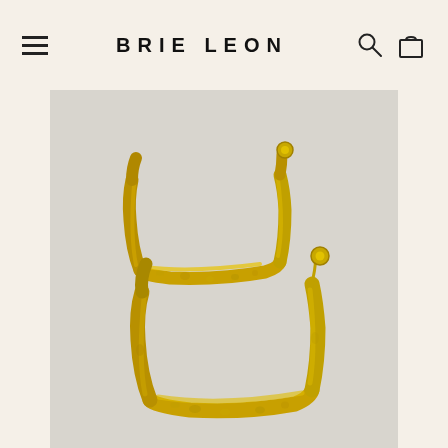BRIE LEON
[Figure (photo): Two gold hammered square hoop earrings with stud backs displayed against a light grey/cream background. The earrings have a textured, molten gold finish and a rectangular/square hoop shape. One earring is positioned above the other.]